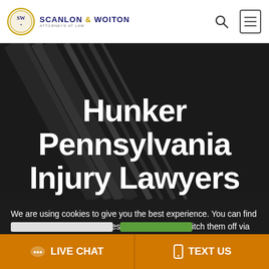Scanlon & Woiton — Attorneys at Law — navigation header with logo, search icon, and menu icon
Hunker Pennsylvania Injury Lawyers
[Figure (screenshot): Dark hero background image with diagonal metallic/chain elements. Large white bold text reads 'Hunker Pennsylvania Injury Lawyers' with additional text partially visible at bottom.]
We are using cookies to give you the best experience. You can find out more about which cookies we are using or switch them off via Cookie Settings Window.
LIVE CHAT   TEXT US